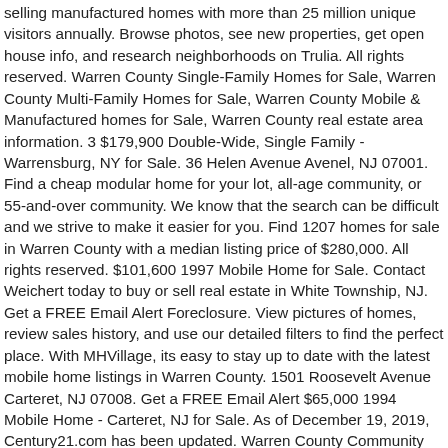selling manufactured homes with more than 25 million unique visitors annually. Browse photos, see new properties, get open house info, and research neighborhoods on Trulia. All rights reserved. Warren County Single-Family Homes for Sale, Warren County Multi-Family Homes for Sale, Warren County Mobile & Manufactured homes for Sale, Warren County real estate area information. 3 $179,900 Double-Wide, Single Family - Warrensburg, NY for Sale. 36 Helen Avenue Avenel, NJ 07001. Find a cheap modular home for your lot, all-age community, or 55-and-over community. We know that the search can be difficult and we strive to make it easier for you. Find 1207 homes for sale in Warren County with a median listing price of $280,000. All rights reserved. $101,600 1997 Mobile Home for Sale. Contact Weichert today to buy or sell real estate in White Township, NJ. Get a FREE Email Alert Foreclosure. View pictures of homes, review sales history, and use our detailed filters to find the perfect place. With MHVillage, its easy to stay up to date with the latest mobile home listings in Warren County. 1501 Roosevelt Avenue Carteret, NJ 07008. Get a FREE Email Alert $65,000 1994 Mobile Home - Carteret, NJ for Sale. As of December 19, 2019, Century21.com has been updated. Warren County Community College Homes For Sale- Disclaimer: School attendance zone boundaries are supplied by Pitney Bowes and are subject to change. Mansfield Twp NJ Homes for Sale & Properties. This information is not intended for use in determining a person's eligibility to attend a school or to use or benefit from other city, town or local services.